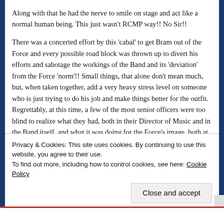Along with that he had the nerve to smile on stage and act like a normal human being. This just wasn't RCMP way!! No Sir!!
There was a concerted effort by this 'cabal' to get Bram out of the Force and every possible road block was thrown up to divert his efforts and sabotage the workings of the Band and its 'deviation' from the Force 'norm'!! Small things, that alone don't mean much, but, when taken together, add a very heavy stress level on someone who is just trying to do his job and make things better for the outfit. Regrettably, at this time, a few of the most senior officers were too blind to realize what they had, both in their Director of Music and in the Band itself, and what it was doing for the Force's image, both at home and abroad. The 'new look' in the Band repertoire in addition to its entertainment value also went on to assist Detachment members as they brought their drug awareness programs to
Privacy & Cookies: This site uses cookies. By continuing to use this website, you agree to their use.
To find out more, including how to control cookies, see here: Cookie Policy